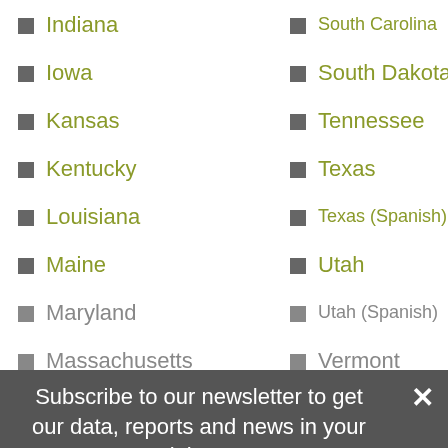Indiana
Iowa
Kansas
Kentucky
Louisiana
Maine
Maryland
Massachusetts
Michigan
South Carolina
South Dakota
Tennessee
Texas
Texas (Spanish)
Utah
Utah (Spanish)
Vermont
Virginia
Washington
West Virginia
Wisconsin
Wisconsin (Spanish)
Wyoming
Subscribe to our newsletter to get our data, reports and news in your inbox.
ENTER EMAIL ADDRESS
SELECT ROLE
SUBSCRIBE ›